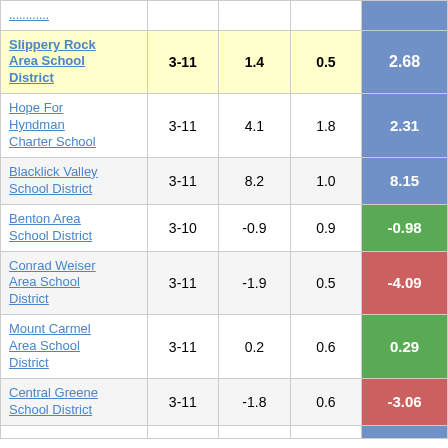| School/District | Grades | Col3 | Col4 | Score |
| --- | --- | --- | --- | --- |
| Slippery Rock Area School District | 3-11 | 1.4 | 0.5 | 2.68 |
| Hope For Hyndman Charter School | 3-11 | 4.1 | 1.8 | 2.31 |
| Blacklick Valley School District | 3-11 | 8.2 | 1.0 | 8.15 |
| Benton Area School District | 3-10 | -0.9 | 0.9 | -0.98 |
| Conrad Weiser Area School District | 3-11 | -1.9 | 0.5 | -4.09 |
| Mount Carmel Area School District | 3-11 | 0.2 | 0.6 | 0.29 |
| Central Greene School District | 3-11 | -1.8 | 0.6 | -3.06 |